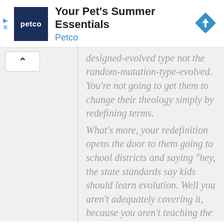[Figure (other): Petco advertisement banner with logo, title 'Your Pet's Summer Essentials', brand name 'Petco', and a navigation/directions icon]
designed-evolved type not the random-mutation-type-evolved. You're not going to get them to change their theology simply by redefining terms.
What's more, your redefinition opens the door to them going to school districts and saying "hey, the state standards say kids should learn evolution. Well you aren't adequately covering it, because you aren't teaching the sudden-appearance by design form of